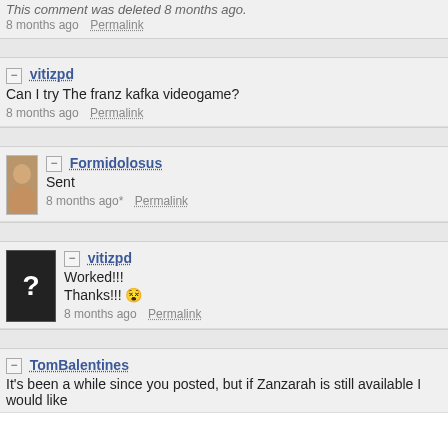This comment was deleted 8 months ago.
8 months ago   Permalink
vitizpd
Can I try The franz kafka videogame?
8 months ago   Permalink
Formidolosus
Sent
8 months ago*   Permalink
vitizpd
Worked!!!
Thanks!!! 😵
8 months ago   Permalink
TomBalentines
It's been a while since you posted, but if Zanzarah is still available I would like